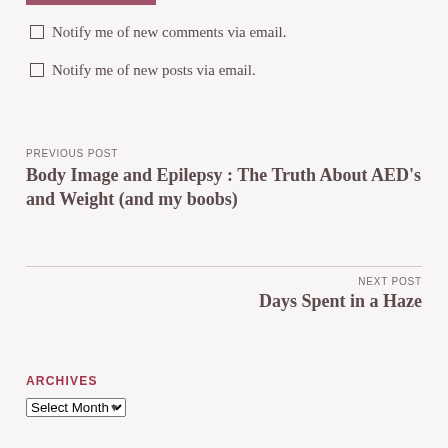Notify me of new comments via email.
Notify me of new posts via email.
PREVIOUS POST
Body Image and Epilepsy : The Truth About AED's and Weight (and my boobs)
NEXT POST
Days Spent in a Haze
ARCHIVES
Select Month